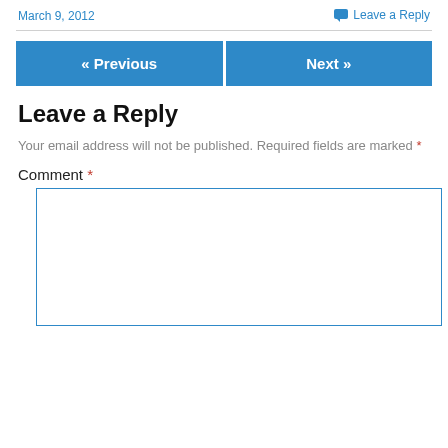March 9, 2012
Leave a Reply
« Previous
Next »
Leave a Reply
Your email address will not be published. Required fields are marked *
Comment *